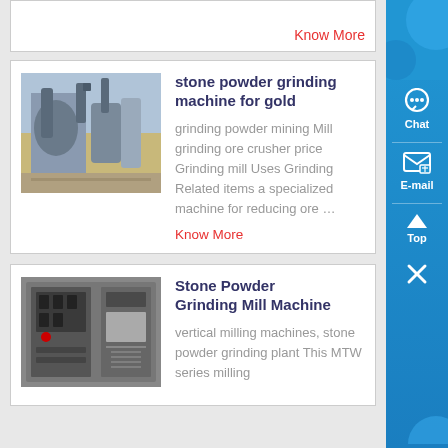Know More
[Figure (photo): Industrial stone powder grinding machine/mill equipment outdoors]
stone powder grinding machine for gold
grinding powder mining Mill grinding ore crusher price Grinding mill Uses Grinding Related items a specialized machine for reducing ore …
Know More
[Figure (photo): Interior of stone powder grinding mill machine showing electrical panel and pipes]
Stone Powder Grinding Mill Machine
vertical milling machines, stone powder grinding plant This MTW series milling